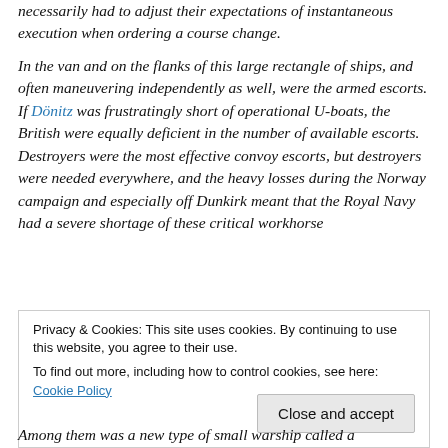necessarily had to adjust their expectations of instantaneous execution when ordering a course change.
In the van and on the flanks of this large rectangle of ships, and often maneuvering independently as well, were the armed escorts. If Dönitz was frustratingly short of operational U-boats, the British were equally deficient in the number of available escorts. Destroyers were the most effective convoy escorts, but destroyers were needed everywhere, and the heavy losses during the Norway campaign and especially off Dunkirk meant that the Royal Navy had a severe shortage of these critical workhorse
Privacy & Cookies: This site uses cookies. By continuing to use this website, you agree to their use. To find out more, including how to control cookies, see here: Cookie Policy
Among them was a new type of small warship called a